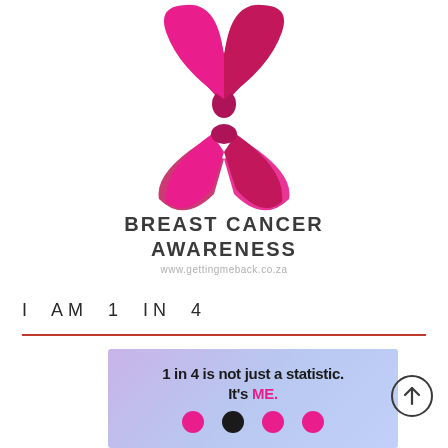[Figure (illustration): Pink breast cancer awareness ribbon logo with two loops, in deep pink/magenta color]
BREAST CANCER AWARENESS
www.gettingmeback.co.za
I AM 1 IN 4
[Figure (infographic): Light purple/lavender gradient box with text '1 in 4 is not just a statistic. It's ME.' and four colored dots below (pink, black, pink, pink)]